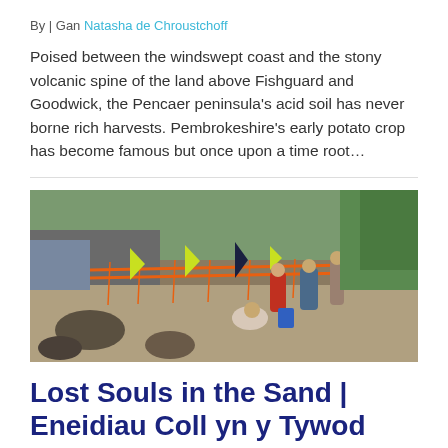By | Gan Natasha de Chroustchoff
Poised between the windswept coast and the stony volcanic spine of the land above Fishguard and Goodwick, the Pencaer peninsula's acid soil has never borne rich harvests. Pembrokeshire's early potato crop has become famous but once upon a time root…
[Figure (photo): Archaeologists and workers at a coastal excavation site on the Pencaer peninsula. Orange safety netting is visible along with bright yellow and blue markers/flags. People are digging and examining finds along a rocky shoreline with green grassy cliffs in the background.]
Lost Souls in the Sand | Eneidiau Coll yn y Tywod